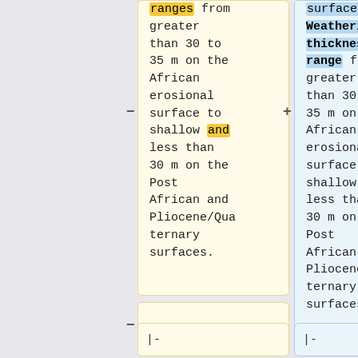ranges from greater than 30 to 35 m on the African erosional surface to shallow and less than 30 m on the Post African and Pliocene/Quaternary surfaces.
surfaces. Weathering thicknesses range from greater than 30 to 35 m on the African erosional surface, to shallow, less than 30 m on the Post African and Pliocene/Quaternary surfaces.
|-
|-